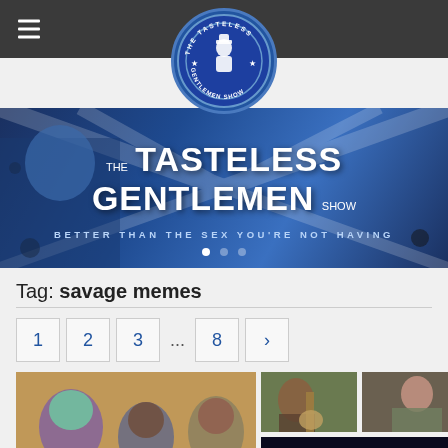[Figure (logo): The Tasteless Gentlemen Show circular logo in blue and white]
[Figure (illustration): The Tasteless Gentlemen Show banner with comic-style illustration of a man giving thumbs up, blue tones, text: THE TASTELESS GENTLEMEN SHOW - BETTER THAN THE SEX YOU'RE NOT HAVING]
Tag: savage memes
Pagination: 1, 2, 3, ..., 8, >
[Figure (photo): Group selfie photo with women]
[Figure (photo): Two photos side by side: person with guitar and woman]
[Figure (photo): Night scene with emergency vehicle lights]